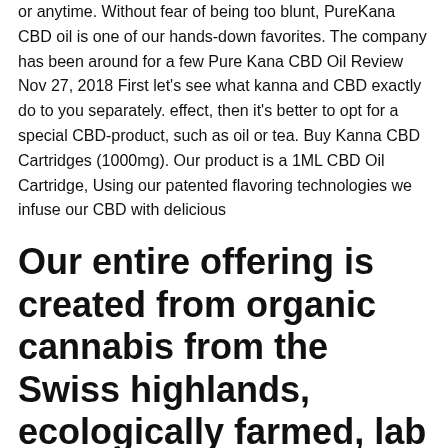or anytime. Without fear of being too blunt, PureKana CBD oil is one of our hands-down favorites. The company has been around for a few Pure Kana CBD Oil Review  Nov 27, 2018  First let's see what kanna and CBD exactly do to you separately. effect, then it's better to opt for a special CBD-product, such as oil or tea. Buy Kanna CBD Cartridges (1000mg). Our product is a 1ML CBD Oil Cartridge, Using our patented flavoring technologies we infuse our CBD with delicious
Our entire offering is created from organic cannabis from the Swiss highlands, ecologically farmed, lab processed and purified in our own facilities while
Our CBD pens are made from premium components and CBD